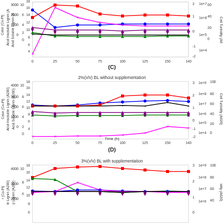[Figure (line-chart): Multi-axis line chart showing Color, Acid Insoluble Lignin, Acid Soluble Lignin, Cell Turbidity, Cell Viability, and Laccase Activity over Time (h) from 0 to 140 - Chart C (partial top)]
(C)
[Figure (line-chart): Multi-axis line chart showing Color, Acid Insoluble Lignin, Acid Soluble Lignin, Cell Turbidity, Cell Viability, and Laccase Activity over Time (h) from 0 to 140]
(D)
[Figure (line-chart): Multi-axis line chart (partial bottom) showing Color, Acid Insoluble Lignin, Acid Soluble Lignin, Cell Turbidity, Cell Viability, and Laccase Activity over Time (h)]